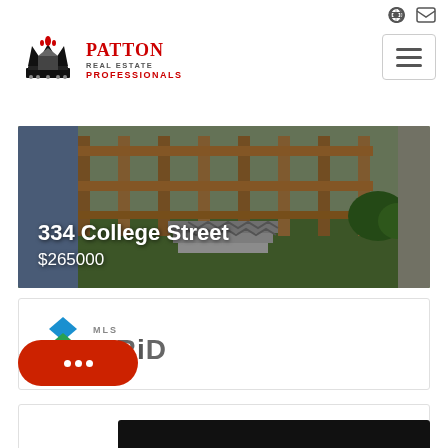[Figure (logo): Patton Real Estate Professionals logo with crown and fleur-de-lis icon in red and black, with company name text]
[Figure (photo): Exterior photo of property at 334 College Street showing wooden deck/fence with steps and landscaping]
334 College Street
$265000
[Figure (logo): MLS GRID logo with stacked colored diamond shapes in blue, green, and teal]
Spartanburg Listings Summary